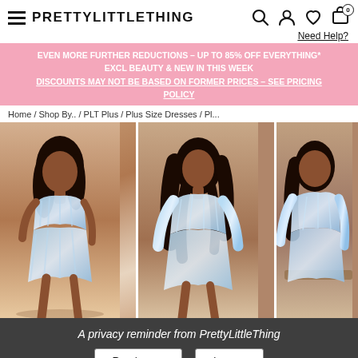PRETTYLITTLETHING
Need Help?
EVEN MORE FURTHER REDUCTIONS – UP TO 85% OFF EVERYTHING* EXCL BEAUTY & NEW IN THIS WEEK DISCOUNTS MAY NOT BE BASED ON FORMER PRICES – SEE PRICING POLICY
Home / Shop By.. / PLT Plus / Plus Size Dresses / Pl...
[Figure (photo): Three side-by-side fashion photos of a plus-size model wearing a blue and white striped mesh long-sleeve crop top and wrap mini skirt set, shown from different angles against a terracotta/desert background.]
A privacy reminder from PrettyLittleThing
Read more
I agree